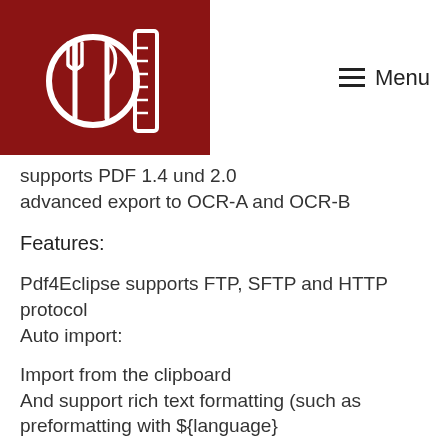Menu
supports PDF 1.4 und 2.0
advanced export to OCR-A and OCR-B
Features:
Pdf4Eclipse supports FTP, SFTP and HTTP protocol
Auto import:
Import from the clipboard
And support rich text formatting (such as preformatting with ${language}
Export to a number of file formats (PCL and PML)